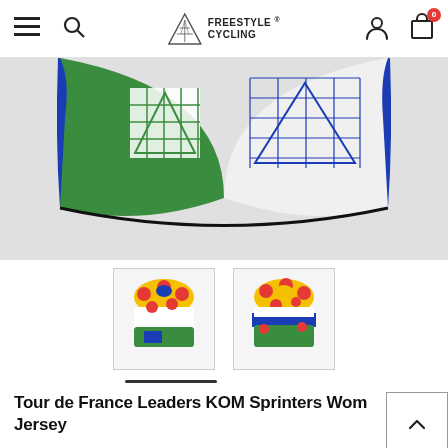Freestyle Cycling (navigation bar with menu, search, logo, account, cart)
[Figure (photo): Close-up top view of a cycling jersey with green, white and blue color sections, Freestyle Cycling logo pattern visible]
[Figure (photo): Thumbnail 1: Cycling jersey with red polka dots, yellow shoulders, green lower section - front view]
[Figure (photo): Thumbnail 2: Cycling jersey with red polka dots, yellow top, blue band, green lower section - rear/side view]
Tour de France Leaders KOM Sprinters Womens Jersey
FC
PLEASE HURRY, ONLY 66 LEFT IN STOCK